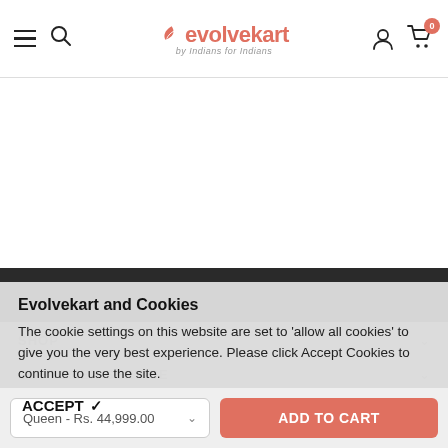evolvekart by Indians for Indians — navigation header with hamburger menu, search, logo, account and cart (0 items)
SHOP
CUSTOMER SERVICE
STAY CONNECTED
Evolvekart and Cookies
The cookie settings on this website are set to 'allow all cookies' to give you the very best experience. Please click Accept Cookies to continue to use the site.
ACCEPT ✔
Queen - Rs. 44,999.00  ADD TO CART